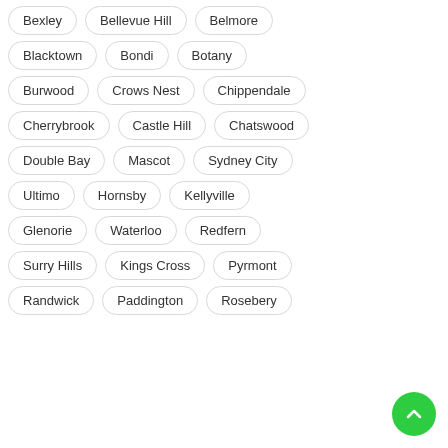Bexley
Bellevue Hill
Belmore
Blacktown
Bondi
Botany
Burwood
Crows Nest
Chippendale
Cherrybrook
Castle Hill
Chatswood
Double Bay
Mascot
Sydney City
Ultimo
Hornsby
Kellyville
Glenorie
Waterloo
Redfern
Surry Hills
Kings Cross
Pyrmont
Randwick
Paddington
Rosebery